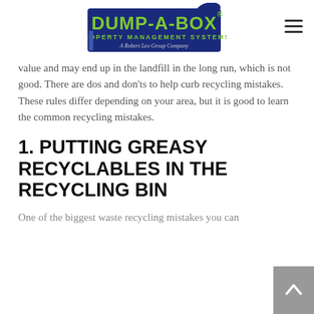[Figure (logo): Dump-A-Box Property Management Systems logo — blue rectangular background with green text 'DUMP-A-BOX' and subtitle 'PROPERTY MANAGEMENT SYSTEMS', tagline 'A Robert Leo Group Company']
value and may end up in the landfill in the long run, which is not good. There are dos and don'ts to help curb recycling mistakes. These rules differ depending on your area, but it is good to learn the common recycling mistakes.
1. PUTTING GREASY RECYCLABLES IN THE RECYCLING BIN
One of the biggest waste recycling mistakes you can